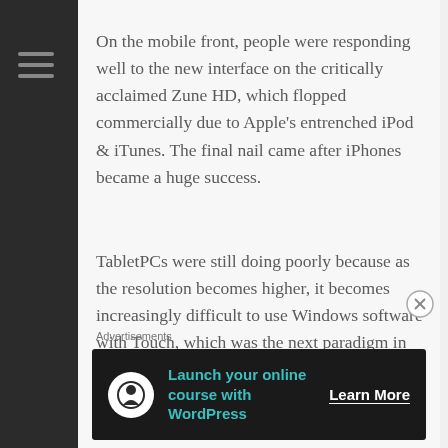On the mobile front, people were responding well to the new interface on the critically acclaimed Zune HD, which flopped commercially due to Apple's entrenched iPod & iTunes. The final nail came after iPhones became a huge success.
TabletPCs were still doing poorly because as the resolution becomes higher, it becomes increasingly difficult to use Windows software with Touch, which was the next paradigm in user interaction.
So Microsoft started an experiment by putting an enhanced Zune interface on their next smartphone
Advertisements
[Figure (other): Advertisement banner with dark background showing 'Launch your online course with WordPress' with a Learn More button and circular icon]